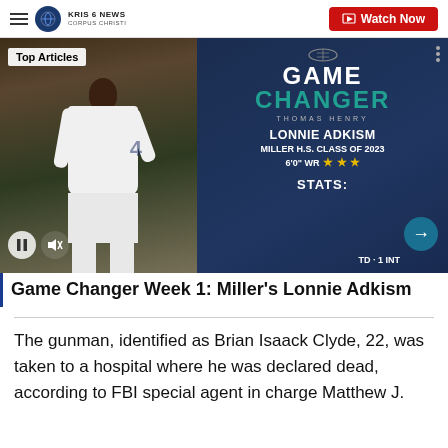KRIS 6 NEWS CORPUS CHRISTI | Watch Now
[Figure (screenshot): Game Changer segment screenshot showing football player Lonnie Adkism, Miller H.S. Class of 2023, 6'0" WR with 3 stars. Stats partially visible. Top Articles badge shown.]
Game Changer Week 1: Miller's Lonnie Adkism
The gunman, identified as Brian Isaack Clyde, 22, was taken to a hospital where he was declared dead, according to FBI special agent in charge Matthew J.